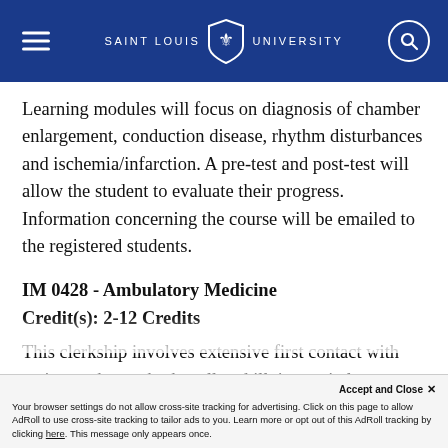Saint Louis University
Learning modules will focus on diagnosis of chamber enlargement, conduction disease, rhythm disturbances and ischemia/infarction. A pre-test and post-test will allow the student to evaluate their progress. Information concerning the course will be emailed to the registered students.
IM 0428 - Ambulatory Medicine
Credit(s): 2-12 Credits
This clerkship involves extensive first contact with patients who are both well and ill, in a strictly direct faculty supervision. Faculty will provide
Your browser settings do not allow cross-site tracking for advertising. Click on this page to allow AdRoll to use cross-site tracking to tailor ads to you. Learn more or opt out of this AdRoll tracking by clicking here. This message only appears once.